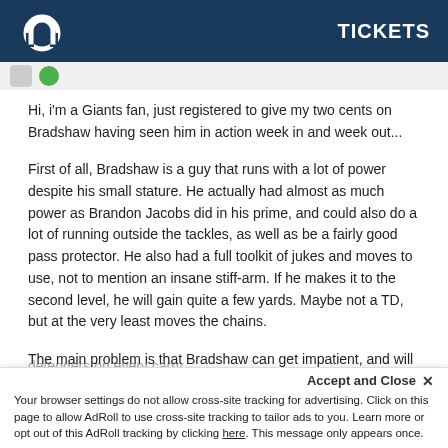TICKETS
Hi, i'm a Giants fan, just registered to give my two cents on Bradshaw having seen him in action week in and week out...
First of all, Bradshaw is a guy that runs with a lot of power despite his small stature. He actually had almost as much power as Brandon Jacobs did in his prime, and could also do a lot of running outside the tackles, as well as be a fairly good pass protector. He also had a full toolkit of jukes and moves to use, not to mention an insane stiff-arm. If he makes it to the second level, he will gain quite a few yards. Maybe not a TD, but at the very least moves the chains.
The main problem is that Bradshaw can get impatient, and will try to hit a hole that hasn't properly developed. That wasn't a problem behind the 2008 Giants OL, which was the best run-blocking line in the league, but he will suffer behind a poor OL if he is forced to power through defenders on every carry.
Accept and Close ✕
Your browser settings do not allow cross-site tracking for advertising. Click on this page to allow AdRoll to use cross-site tracking to tailor ads to you. Learn more or opt out of this AdRoll tracking by clicking here. This message only appears once.